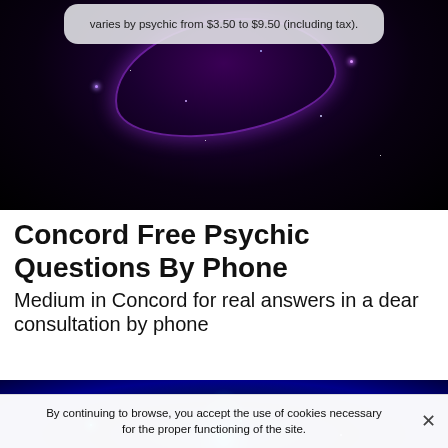[Figure (illustration): Dark purple/black space background with glowing purple arc and scattered purple and white stars. A light-colored rounded rectangle callout box overlaid at top center containing text about pricing.]
varies by psychic from $3.50 to $9.50 (including tax).
Concord Free Psychic Questions By Phone
Medium in Concord for real answers in a dear consultation by phone
[Figure (photo): Deep blue space background with bright cyan/turquoise stars and a glowing cyan light beam rising from the bottom center.]
By continuing to browse, you accept the use of cookies necessary for the proper functioning of the site.